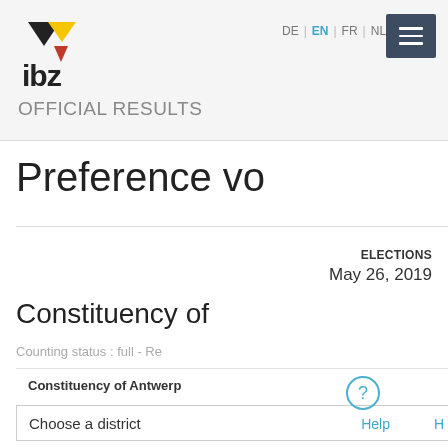[Figure (logo): IBZ logo with black and yellow triangle top, red downward triangle, text 'ibz']
DE | EN | FR | NL |
[Figure (other): Dark blue hamburger menu button with three white horizontal lines]
OFFICIAL RESULTS
Preference vo
ELECTIONS
May 26, 2019
Constituency of
Counting status : full - Re
Constituency of Antwerp
Choose a district
[Figure (other): Help circle icon with question mark]
Help
NAVIGATION MAP
[Figure (map): Outline map of Belgian region/constituency]